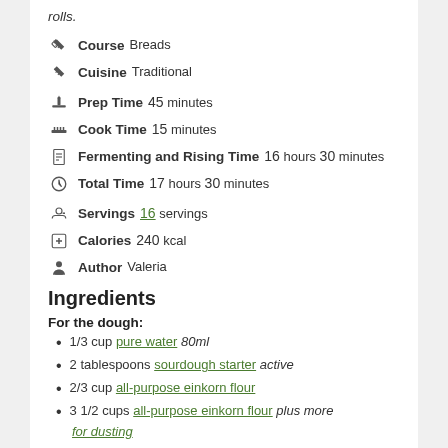rolls.
Course Breads
Cuisine Traditional
Prep Time 45 minutes
Cook Time 15 minutes
Fermenting and Rising Time 16 hours 30 minutes
Total Time 17 hours 30 minutes
Servings 16 servings
Calories 240 kcal
Author Valeria
Ingredients
For the dough:
1/3 cup pure water 80ml
2 tablespoons sourdough starter active
2/3 cup all-purpose einkorn flour
3 1/2 cups all-purpose einkorn flour plus more for dusting